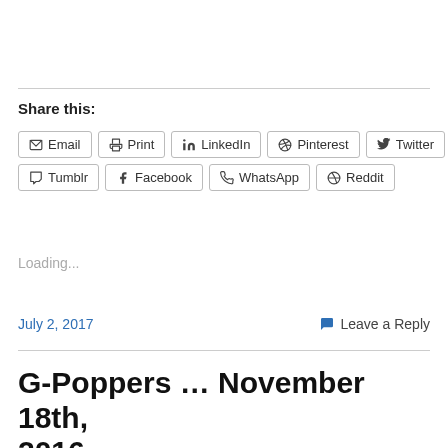Share this:
Email  Print  LinkedIn  Pinterest  Twitter  Tumblr  Facebook  WhatsApp  Reddit
Loading...
July 2, 2017
Leave a Reply
G-Poppers … November 18th, 2016